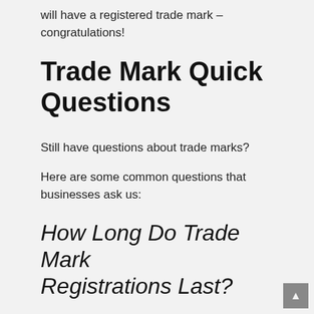will have a registered trade mark – congratulations!
Trade Mark Quick Questions
Still have questions about trade marks?
Here are some common questions that businesses ask us:
How Long Do Trade Mark Registrations Last?
Trade mark registrations last for 10 years.